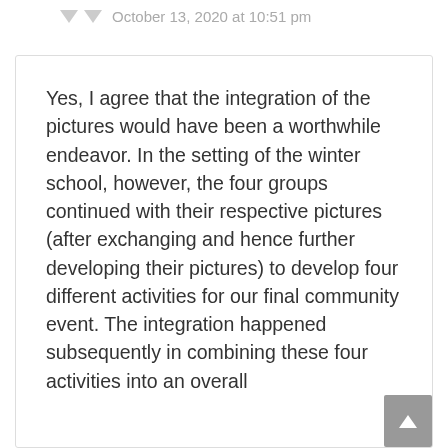October 13, 2020 at 10:51 pm
Yes, I agree that the integration of the pictures would have been a worthwhile endeavor. In the setting of the winter school, however, the four groups continued with their respective pictures (after exchanging and hence further developing their pictures) to develop four different activities for our final community event. The integration happened subsequently in combining these four activities into an overall